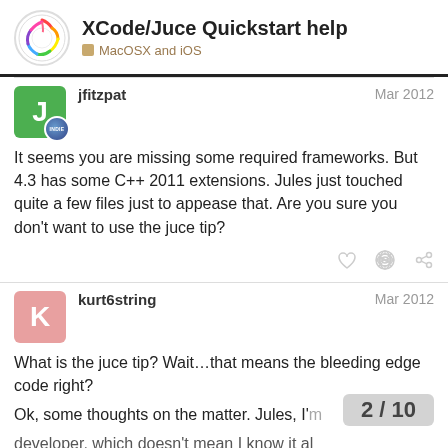XCode/Juce Quickstart help — MacOSX and iOS
jfitzpat — Mar 2012
It seems you are missing some required frameworks. But 4.3 has some C++ 2011 extensions. Jules just touched quite a few files just to appease that. Are you sure you don't want to use the juce tip?
kurt6string — Mar 2012
What is the juce tip? Wait…that means the bleeding edge code right?

Ok, some thoughts on the matter. Jules, I'm developer, which doesn't mean I know it al
2 / 10